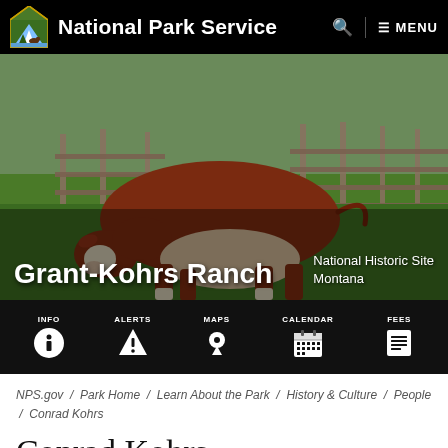National Park Service
[Figure (photo): A brown and white Hereford calf grazing in a green pasture with wooden ranch fencing in the background. Hero image for Grant-Kohrs Ranch National Historic Site.]
Grant-Kohrs Ranch
National Historic Site Montana
[Figure (infographic): Black navigation bar with five icon links: INFO (info circle icon), ALERTS (warning triangle icon), MAPS (map pin icon), CALENDAR (calendar icon), FEES (fee/document icon)]
NPS.gov / Park Home / Learn About the Park / History & Culture / People / Conrad Kohrs
Conrad Kohrs